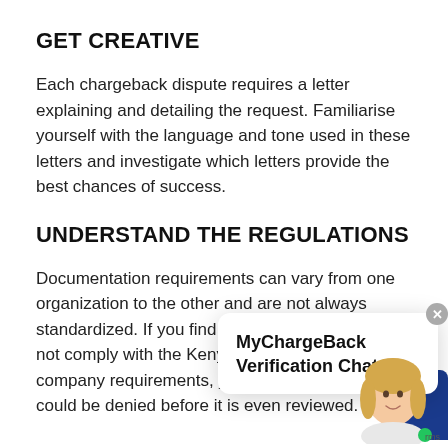GET CREATIVE
Each chargeback dispute requires a letter explaining and detailing the request. Familiarise yourself with the language and tone used in these letters and investigate which letters provide the best chances of success.
UNDERSTAND THE REGULATIONS
Documentation requirements can vary from one organization to the other and are not always standardized. If you find that your evidence do not comply with the Kenya or credit card company requirements, your chargeback request could be denied before it is even reviewed.
[Figure (screenshot): MyChargeBack Verification Chat popup overlay with close button, avatar of a blonde woman, blue shape, and green dot with 'rms' text]